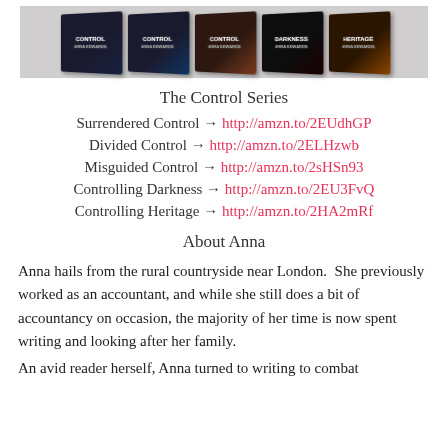[Figure (photo): Row of five book covers from The Control Series by Anna Edwards, displayed side by side on a surface.]
The Control Series
Surrendered Control → http://amzn.to/2EUdhGP
Divided Control → http://amzn.to/2ELHzwb
Misguided Control → http://amzn.to/2sHSn93
Controlling Darkness → http://amzn.to/2EU3FvQ
Controlling Heritage → http://amzn.to/2HA2mRf
About Anna
Anna hails from the rural countryside near London.  She previously worked as an accountant, and while she still does a bit of accountancy on occasion, the majority of her time is now spent writing and looking after her family.
An avid reader herself, Anna turned to writing to combat